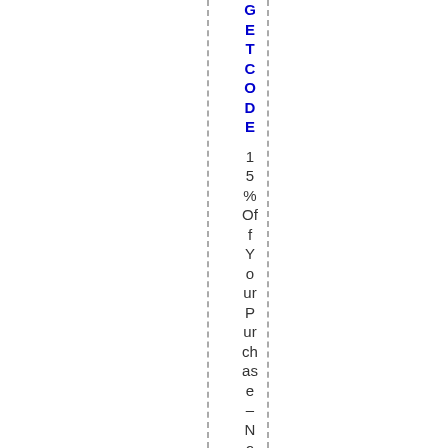GETCODE 15% Off Your Purchase – No Minimum
15% Off Your Purchase – No Minimum